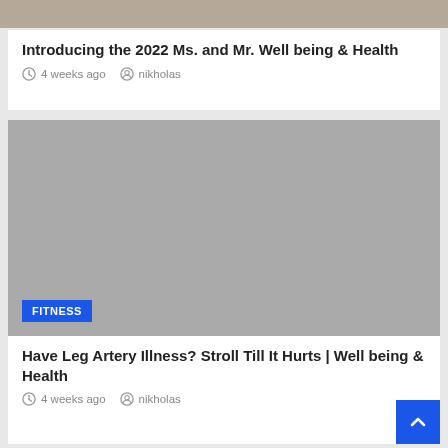[Figure (photo): Cropped photo strip at top, showing people]
Introducing the 2022 Ms. and Mr. Well being & Health
4 weeks ago   nikholas
[Figure (photo): Gray placeholder image with FITNESS badge overlay]
Have Leg Artery Illness? Stroll Till It Hurts | Well being & Health
4 weeks ago   nikholas